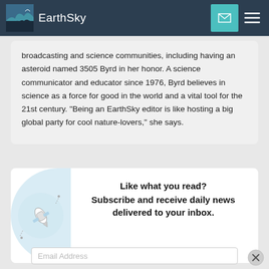EarthSky
broadcasting and science communities, including having an asteroid named 3505 Byrd in her honor. A science communicator and educator since 1976, Byrd believes in science as a force for good in the world and a vital tool for the 21st century. "Being an EarthSky editor is like hosting a big global party for cool nature-lovers," she says.
Like what you read?
Subscribe and receive daily news delivered to your inbox.